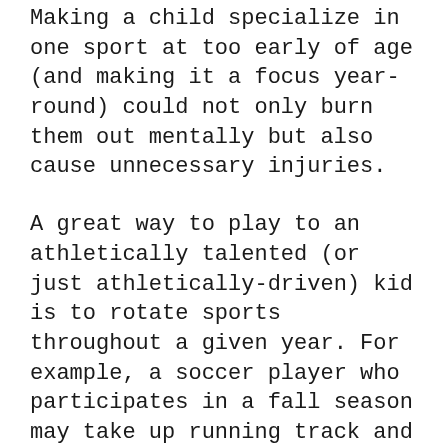Making a child specialize in one sport at too early of age (and making it a focus year-round) could not only burn them out mentally but also cause unnecessary injuries.
A great way to play to an athletically talented (or just athletically-driven) kid is to rotate sports throughout a given year. For example, a soccer player who participates in a fall season may take up running track and field during the spring. Both sports give them an active outlet, but the change in activity can help safeguard the child from an overuse injury.
Plus, remember that they're ultimately still a child and sports